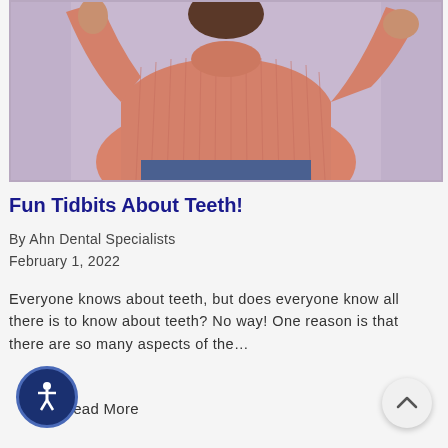[Figure (photo): A person wearing a pink/salmon ribbed knit sweater with arms raised, against a lavender/mauve background. The lower portion shows blue jeans. Only the torso and partial arms are visible.]
Fun Tidbits About Teeth!
By Ahn Dental Specialists
February 1, 2022
Everyone knows about teeth, but does everyone know all there is to know about teeth? No way! One reason is that there are so many aspects of the…
Read More